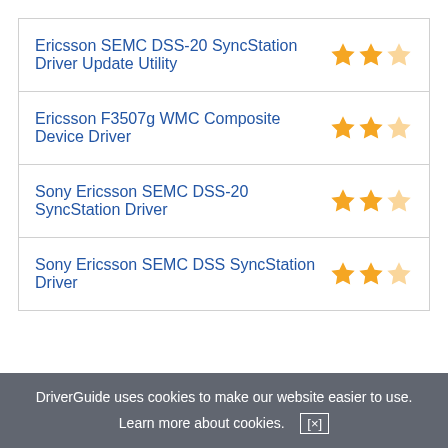| Driver Name | Rating |
| --- | --- |
| Ericsson SEMC DSS-20 SyncStation Driver Update Utility | ★★½ |
| Ericsson F3507g WMC Composite Device Driver | ★★½ |
| Sony Ericsson SEMC DSS-20 SyncStation Driver | ★★½ |
| Sony Ericsson SEMC DSS SyncStation Driver | ★★½ |
DriverGuide uses cookies to make our website easier to use.
Learn more about cookies. [×]